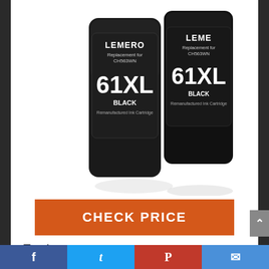[Figure (photo): Two LEMERO 61XL BLACK remanufactured ink cartridge replacements for CH563WN, shown side by side on white background]
CHECK PRICE
Feature
Contents: Remanufactured ink cartridge replacement for HP 61XL 61 XL (2 black)
High Yield: Print yield of 480 pages
Facebook | Twitter | Pinterest | Email